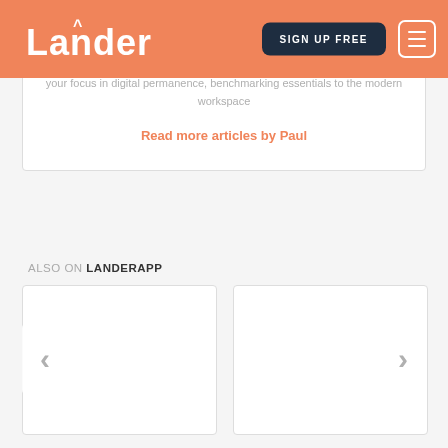Lander — SIGN UP FREE
your focus in digital performance, benchmarking essentials to the modern workspace
Read more articles by Paul
ALSO ON LANDERAPP
[Figure (screenshot): Two blank related article cards side by side with left and right navigation arrows]
[Figure (screenshot): Second blank related article card]